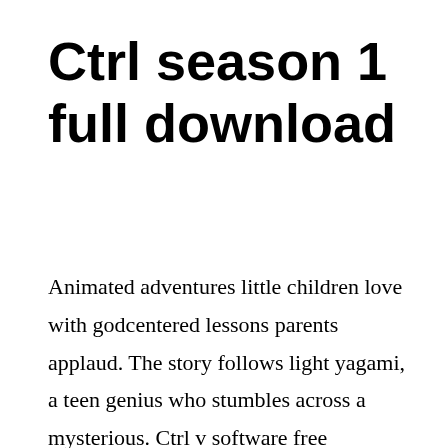Ctrl season 1 full download
Animated adventures little children love with godcentered lessons parents applaud. The story follows light yagami, a teen genius who stumbles across a mysterious. Ctrl v software free download ctrl v top 4 download. Her family has been tasked with serving ha baek, a reincarnated water god, for many generations,